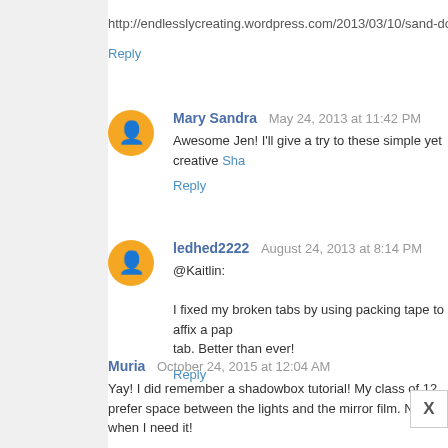http://endlesslycreating.wordpress.com/2013/03/10/sand-do
Reply
Mary Sandra  May 24, 2013 at 11:42 PM
Awesome Jen! I'll give a try to these simple yet creative Sha
Reply
ledhed2222  August 24, 2013 at 8:14 PM
@Kaitlin:
I fixed my broken tabs by using packing tape to affix a pap... tab. Better than ever!
Reply
Muria  October 24, 2015 at 12:04 AM
Yay! I did remember a shadowbox tutorial! My class of 12... prefer space between the lights and the mirror film. N... when I need it!